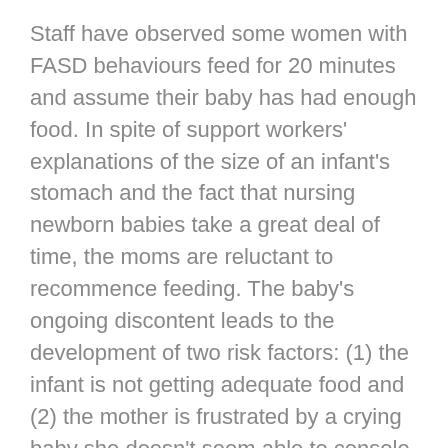Staff have observed some women with FASD behaviours feed for 20 minutes and assume their baby has had enough food. In spite of support workers' explanations of the size of an infant's stomach and the fact that nursing newborn babies take a great deal of time, the moms are reluctant to recommence feeding. The baby's ongoing discontent leads to the development of two risk factors: (1) the infant is not getting adequate food and (2) the mother is frustrated by a crying baby she doesn't seem able to console.